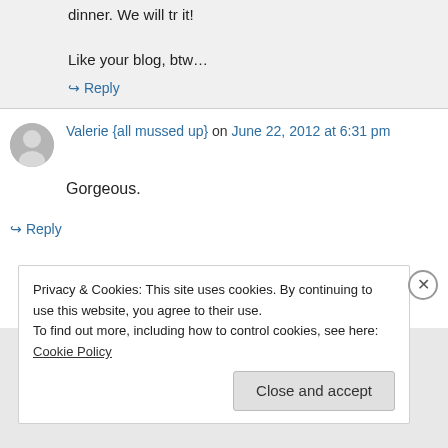Like your blog, btw…
↪ Reply
Valerie {all mussed up} on June 22, 2012 at 6:31 pm
Gorgeous.
↪ Reply
Privacy & Cookies: This site uses cookies. By continuing to use this website, you agree to their use. To find out more, including how to control cookies, see here: Cookie Policy
Close and accept